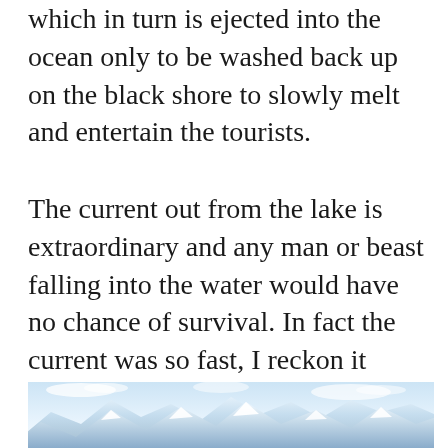which in turn is ejected into the ocean only to be washed back up on the black shore to slowly melt and entertain the tourists.
The current out from the lake is extraordinary and any man or beast falling into the water would have no chance of survival. In fact the current was so fast, I reckon it would make its way to Tassie in no time flat.
[Figure (photo): Snow-capped mountain range under a pale blue sky with clouds]